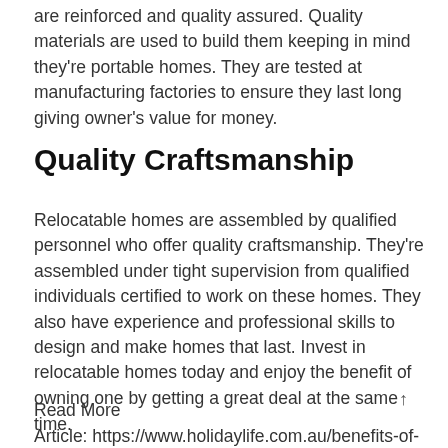are reinforced and quality assured. Quality materials are used to build them keeping in mind they're portable homes. They are tested at manufacturing factories to ensure they last long giving owner's value for money.
Quality Craftsmanship
Relocatable homes are assembled by qualified personnel who offer quality craftsmanship. They're assembled under tight supervision from qualified individuals certified to work on these homes. They also have experience and professional skills to design and make homes that last. Invest in relocatable homes today and enjoy the benefit of owning one by getting a great deal at the same time.
Read More
Article: https://www.holidaylife.com.au/benefits-of-